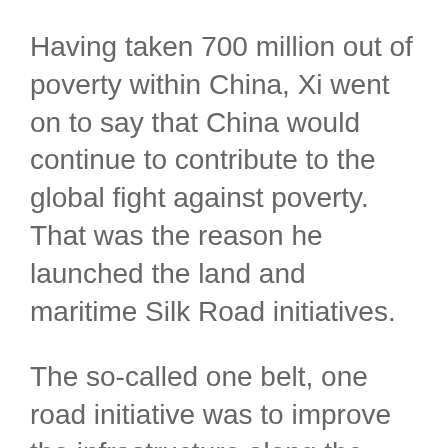Having taken 700 million out of poverty within China, Xi went on to say that China would continue to contribute to the global fight against poverty. That was the reason he launched the land and maritime Silk Road initiatives.
The so-called one belt, one road initiative was to improve the infrastructure along the way from East Asia to Western Europe and all points in between.  The Asia Infrastructure Investment Bank formed concurrent to the OBOR has already begun financing some of the projects.
Improving the infrastructure of the countries